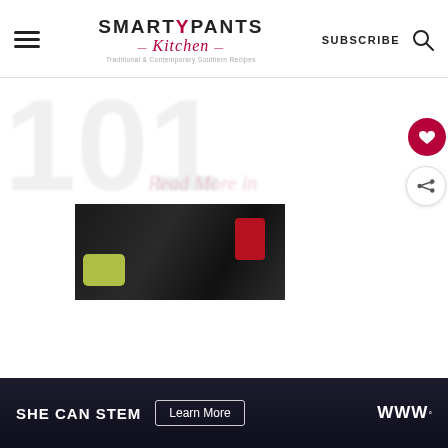[Figure (logo): SmartyPants Kitchen logo with hamburger menu, SUBSCRIBE text, and search icon in the header]
[Figure (photo): Blurred page content showing a large number '101' watermark on the left and faint italic text 'Read More in' in the center, with food photo partially visible at bottom]
[Figure (photo): Dark food photograph showing green and red food items on dark background]
SHE CAN STEM   Learn More   W°